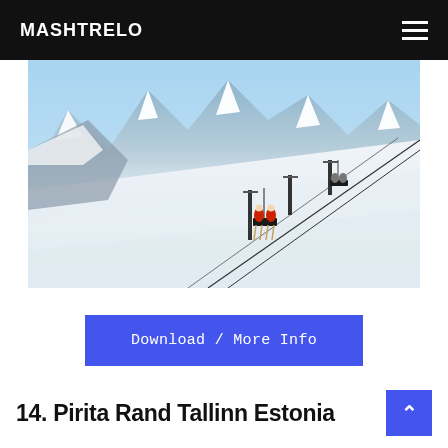MASHTRELO
[Figure (photo): A ski resort scene with a chairlift carrying skiers over a vast snow-covered mountain slope with rocky peaks in the background and a blue sky.]
Download / More Info
14. Pirita Rand Tallinn Estonia